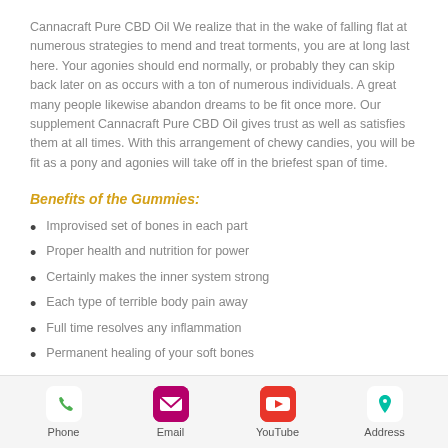Cannacraft Pure CBD Oil We realize that in the wake of falling flat at numerous strategies to mend and treat torments, you are at long last here. Your agonies should end normally, or probably they can skip back later on as occurs with a ton of numerous individuals. A great many people likewise abandon dreams to be fit once more. Our supplement Cannacraft Pure CBD Oil gives trust as well as satisfies them at all times. With this arrangement of chewy candies, you will be fit as a pony and agonies will take off in the briefest span of time.
Benefits of the Gummies:
Improvised set of bones in each part
Proper health and nutrition for power
Certainly makes the inner system strong
Each type of terrible body pain away
Full time resolves any inflammation
Permanent healing of your soft bones
Phone   Email   YouTube   Address